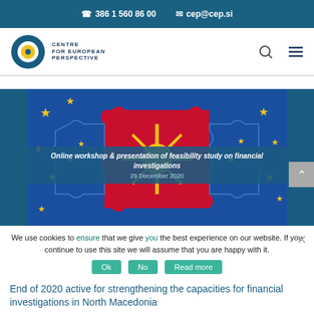386 1 560 86 00   cep@cep.si
[Figure (logo): Centre for European Perspective logo — circular blue/yellow C shape with text CENTRE FOR EUROPEAN PERSPECTIVE]
[Figure (photo): Puzzle pieces showing North Macedonia flag (red with yellow sun) fitting together with EU flag puzzle pieces (blue with yellow stars)]
Online workshop & presentation of feasibility study on financial investigations
29 December 2020
We use cookies to ensure that we give you the best experience on our website. If you continue to use this site we will assume that you are happy with it.
End of 2020 active for strengthening the capacities for financial investigations in North Macedonia